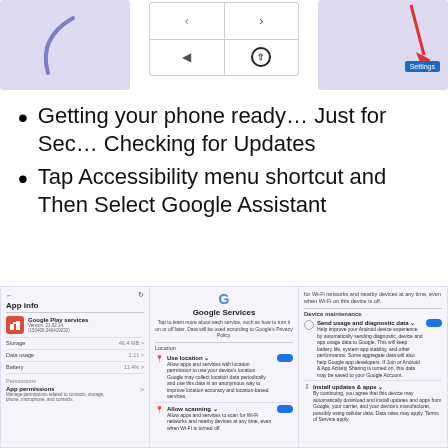[Figure (screenshot): Three mobile/UI screenshots at top: left shows a purple/lavender screen with a curved icon, center shows a navigation UI with arrows and a circled upload icon, right shows a map-like screen with a red arrow pointing to a Settings button]
Getting your phone ready… Just for Sec… Checking for Updates
Tap Accessibility menu shortcut and Then Select Google Assistant
[Figure (screenshot): Three mobile screenshots at bottom: left shows App info for Google Play services with storage/data/battery info and App permissions; center shows Google Services screen with location and allow scanning toggles; right shows device maintenance settings with Send usage and diagnostic data toggle and Install updates & apps options]